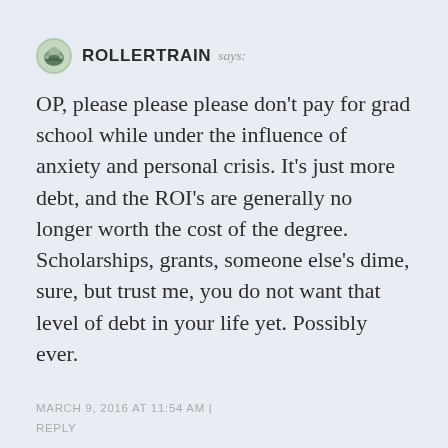ROLLERTRAIN says:
OP, please please please don't pay for grad school while under the influence of anxiety and personal crisis. It's just more debt, and the ROI's are generally no longer worth the cost of the degree. Scholarships, grants, someone else's dime, sure, but trust me, you do not want that level of debt in your life yet. Possibly ever.
MARCH 9, 2016 AT 11:54 AM | REPLY